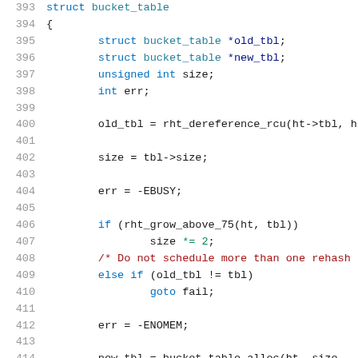[Figure (screenshot): Source code listing showing lines 393-414 of a C file. The code shows a function body with variable declarations (struct bucket_table *old_tbl, *new_tbl, unsigned int size, int err), assignments using rht_dereference_rcu, size manipulation, error handling with -EBUSY and -ENOMEM, a conditional block with rht_grow_above_75, else if with goto fail, and allocation of a new bucket_table.]